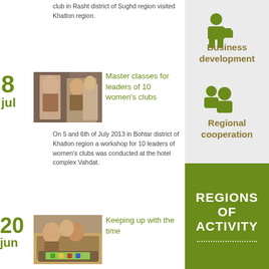club in Rasht district of Sughd region visited Khatlon region.
Master classes for leaders of 10 women's clubs
On 5 and 6th of July 2013 in Bohtar district of Khatlon region a workshop for 10 leaders of women's clubs was conducted at the hotel complex Vahdat.
[Figure (photo): Women at a workshop or meeting, one appears to be speaking or demonstrating something]
[Figure (infographic): Business development icon - figure in suit with briefcase. Text: Business development]
[Figure (infographic): Regional cooperation icon - two figures. Text: Regional cooperation]
Keeping up with the time
[Figure (photo): People sitting on floor working on a board game or activity]
On March 1, 2013 the project "Keeping up with the times" was launched in two districts of Khatlon region in Tajikistan. The project is implemented in
REGIONS OF ACTIVITY